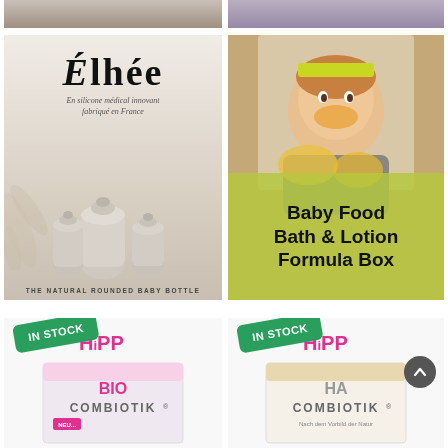[Figure (photo): Top-left partial image of baby product, cropped]
[Figure (photo): Top-right partial image of baby product, cropped]
[Figure (photo): Élhée brand – The Natural Rounded Baby Bottle product card with beige/grey tones and bottle silhouettes]
[Figure (photo): Baby with food on face sitting in high chair; overlay text: Baby Food Bath & Lotion Formula Box]
[Figure (photo): HiPP BIO COMBIOTIK® formula box with IN STOCK badge]
[Figure (photo): HiPP HA COMBIOTIK® formula box with IN STOCK badge and back-to-top button]